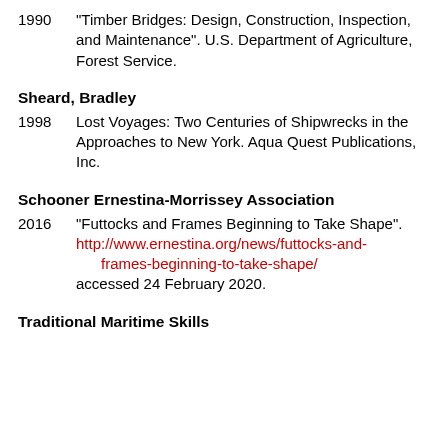1990  "Timber Bridges: Design, Construction, Inspection, and Maintenance". U.S. Department of Agriculture, Forest Service.
Sheard, Bradley
1998  Lost Voyages: Two Centuries of Shipwrecks in the Approaches to New York. Aqua Quest Publications, Inc.
Schooner Ernestina-Morrissey Association
2016  "Futtocks and Frames Beginning to Take Shape". http://www.ernestina.org/news/futtocks-and-frames-beginning-to-take-shape/ accessed 24 February 2020.
Traditional Maritime Skills